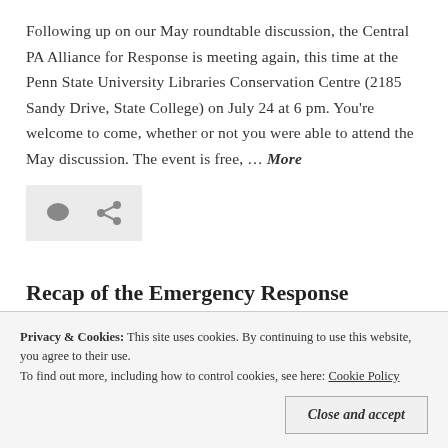Following up on our May roundtable discussion, the Central PA Alliance for Response is meeting again, this time at the Penn State University Libraries Conservation Centre (2185 Sandy Drive, State College) on July 24 at 6 pm. You're welcome to come, whether or not you were able to attend the May discussion. The event is free, … More
[Figure (other): Icon bar with comment bubble and share/link icons on light grey background]
Recap of the Emergency Response Roundtable Discussion, May 9, 2019
Privacy & Cookies: This site uses cookies. By continuing to use this website, you agree to their use. To find out more, including how to control cookies, see here: Cookie Policy
Huntingdon County Library. It was a great opportunity to bring